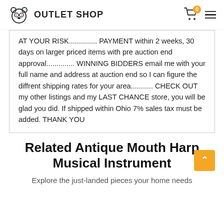OUTLET SHOP
AT YOUR RISK.............. PAYMENT within 2 weeks, 30 days on larger priced items with pre auction end approval.............. WINNING BIDDERS email me with your full name and address at auction end so I can figure the diffrent shipping rates for your area........... CHECK OUT my other listings and my LAST CHANCE store, you will be glad you did. If shipped within Ohio 7% sales tax must be added. THANK YOU
Related Antique Mouth Harp Musical Instrument
Explore the just-landed pieces your home needs